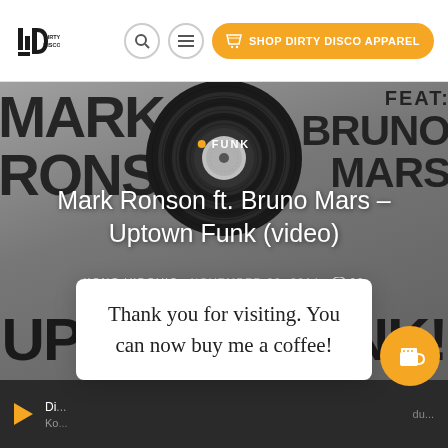Dirty Disco - Shop Dirty Disco Apparel
[Figure (screenshot): Hero image with Mark Ronson ft. Bruno Mars Uptown Funk vinyl record artwork on grey background]
Mark Ronson ft. Bruno Mars – Uptown Funk (video)
KONO VIDOVIC  NOVEMBER 26, 2014  60 views
Thank you for visiting. You can now buy me a coffee!
Di... Kono...  du...